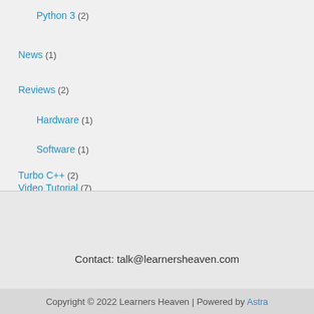Python 3 (2)
News (1)
Reviews (2)
Hardware (1)
Software (1)
Turbo C++ (2)
Video Tutorial (7)
Contact: talk@learnersheaven.com
Copyright © 2022 Learners Heaven | Powered by Astra